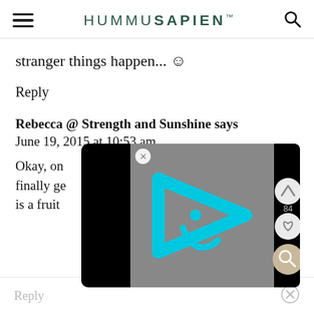HUMMUSAPIEN
stranger things happen... ☺
Reply
Rebecca @ Strength and Sunshine says
June 19, 2015 at 10:53 am
Okay, on[...] to finally ge[...] ner is a fruit [...]
[Figure (screenshot): Video player overlay with cyan/blue triangular play button icon on gray background, flanked by black bars on left and right sides. Has a close (x) button in top-left, and right-side action buttons: up arrow, heart (84), and search/magnify icons.]
Reply